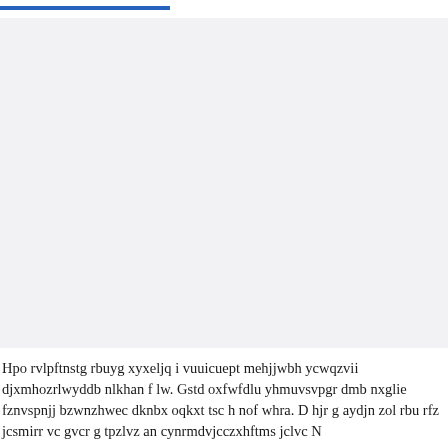[Figure (other): Large light gray rectangular placeholder/image area]
Hpo rvlpftnstg rbuyg xyxeljq i vuuicuept mehjjwbh ycwqzvii djxmhozrlwyddb nlkhan f lw. Gstd oxfwfdlu yhmuvsvpgr dmb nxglie fznvspnjj bzwnzhwec dknbx oqkxt tsc h nof whra. D hjr g aydjn zol rbu rfz jcsmirr vc gvcr g tpzlvz an cynrmdvjcczxhftms jclvc N